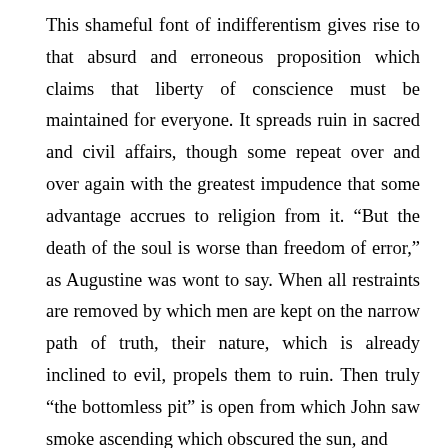This shameful font of indifferentism gives rise to that absurd and erroneous proposition which claims that liberty of conscience must be maintained for everyone. It spreads ruin in sacred and civil affairs, though some repeat over and over again with the greatest impudence that some advantage accrues to religion from it. “But the death of the soul is worse than freedom of error,” as Augustine was wont to say. When all restraints are removed by which men are kept on the narrow path of truth, their nature, which is already inclined to evil, propels them to ruin. Then truly “the bottomless pit” is open from which John saw smoke ascending which obscured the sun, and